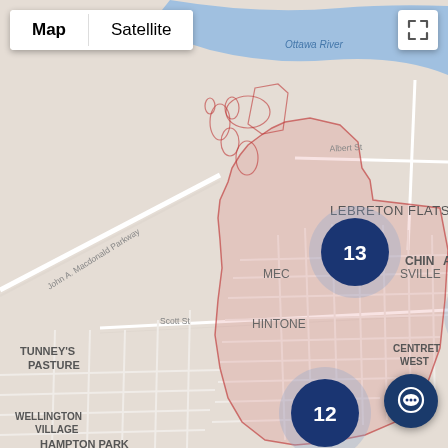[Figure (map): Google Maps style street map of Ottawa, Canada showing the Mechanicsville/Hintondale area with a pink shaded region overlay. The map shows Ottawa River to the north, Lebreton Flats to the northeast, Tunney's Pasture to the west, Wellington Village and Hampton Park to the south, and Centretown West to the east. Four numbered cluster markers are shown on the map: 13 (upper left), 15 (center), 5 (right), and 12 (lower left). Map controls show 'Map' and 'Satellite' tabs in the upper left, and an expand icon in the upper right. A chat button is in the lower right.]